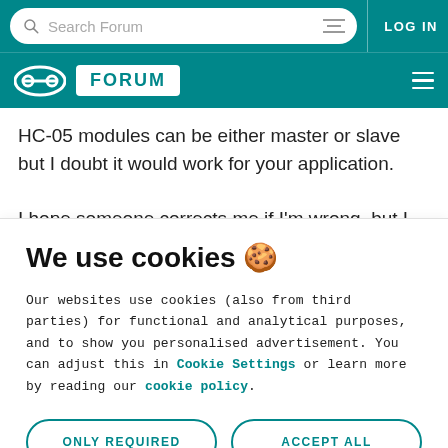Search Forum | LOG IN
Arduino FORUM
HC-05 modules can be either master or slave but I doubt it would work for your application.

I hope someone corrects me if I'm wrong, but I don't think the Arduino could send Bluetooth audio data fast enough to
We use cookies 🍪
Our websites use cookies (also from third parties) for functional and analytical purposes, and to show you personalised advertisement. You can adjust this in Cookie Settings or learn more by reading our cookie policy.
ONLY REQUIRED
ACCEPT ALL